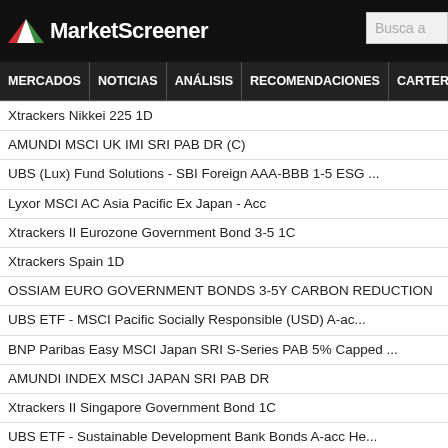MarketScreener
MERCADOS | NOTICIAS | ANÁLISIS | RECOMENDACIONES | CARTERAS
Xtrackers Nikkei 225 1D
AMUNDI MSCI UK IMI SRI PAB DR (C)
UBS (Lux) Fund Solutions - SBI Foreign AAA-BBB 1-5 ESG ...
Lyxor MSCI AC Asia Pacific Ex Japan - Acc
Xtrackers II Eurozone Government Bond 3-5 1C
Xtrackers Spain 1D
OSSIAM EURO GOVERNMENT BONDS 3-5Y CARBON REDUCTION
UBS ETF - MSCI Pacific Socially Responsible (USD) A-ac...
BNP Paribas Easy MSCI Japan SRI S-Series PAB 5% Capped ...
AMUNDI INDEX MSCI JAPAN SRI PAB DR
Xtrackers II Singapore Government Bond 1C
UBS ETF - Sustainable Development Bank Bonds A-acc He...
UBS ETF - MSCI Canada (CAD) A-UKdis
AMUNDI INDEX BARCLAYS EURO CORP BBB 1-5 - DR (C)
UBS ETF - Barclays Euro Area Liquid Corporates 1-5 Year...
Lyxor STOXX Europe 600 Healthcare - Dist